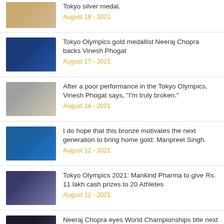Tokyo silver medal. August 18 - 2021
Tokyo Olympics gold medallist Neeraj Chopra backs Vinesh Phogat. August 17 - 2021
After a poor performance in the Tokyo Olympics, Vinesh Phogat says, "I'm truly broken." August 14 - 2021
I do hope that this bronze motivates the next generation to bring home gold: Manpreet Singh. August 12 - 2021
Tokyo Olympics 2021: Mankind Pharma to give Rs. 11 lakh cash prizes to 20 Athletes. August 12 - 2021
Neeraj Chopra eyes World Championships title next year.